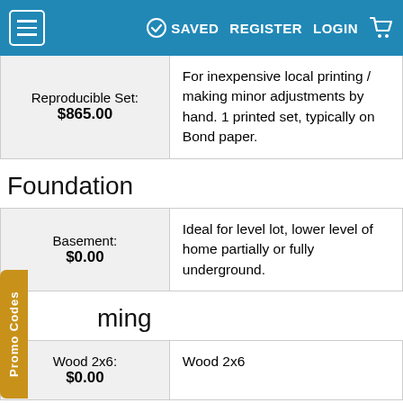SAVED  REGISTER  LOGIN
| Option | Description |
| --- | --- |
| Reproducible Set: $865.00 | For inexpensive local printing / making minor adjustments by hand. 1 printed set, typically on Bond paper. |
Foundation
| Option | Description |
| --- | --- |
| Basement: $0.00 | Ideal for level lot, lower level of home partially or fully underground. |
ming
| Option | Description |
| --- | --- |
| Wood 2x6: $0.00 | Wood 2x6 |